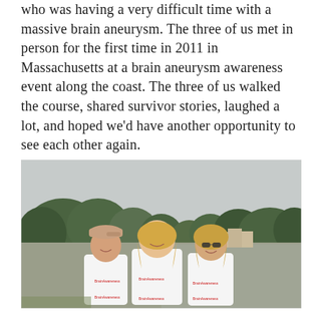who was having a very difficult time with a massive brain aneurysm. The three of us met in person for the first time in 2011 in Massachusetts at a brain aneurysm awareness event along the coast. The three of us walked the course, shared survivor stories, laughed a lot, and hoped we'd have another opportunity to see each other again.
[Figure (photo): Three women standing outdoors wearing matching white t-shirts with a brain aneurysm awareness logo, posing together at a coastal awareness walk event in Massachusetts. Trees and a cloudy sky are visible in the background.]